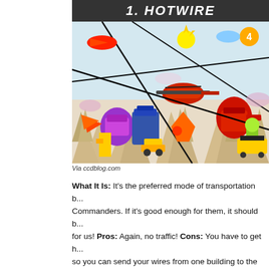1. HOTWIRE
[Figure (illustration): Colorful comic book style illustration showing robots and transformers in battle scene with helicopters and vehicles amid rocky terrain]
Via ccdblog.com
What It Is: It's the preferred mode of transportation b... Commanders. If it's good enough for them, it should b... for us! Pros: Again, no traffic! Cons: You have to get h... so you can send your wires from one building to the n... involve quite a lot of climbing. Might not be worth it... mention...